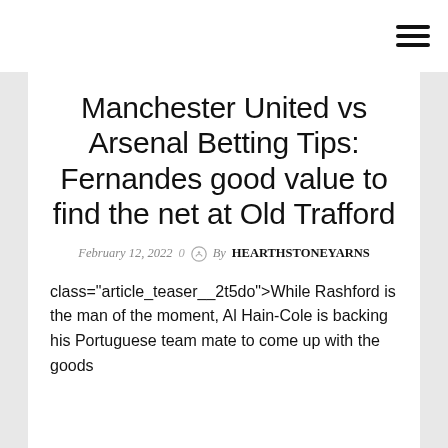Manchester United vs Arsenal Betting Tips: Fernandes good value to find the net at Old Trafford
February 12, 2022  0  By HEARTHSTONEYARNS
class="article_teaser__2t5do">While Rashford is the man of the moment, Al Hain-Cole is backing his Portuguese team mate to come up with the goods